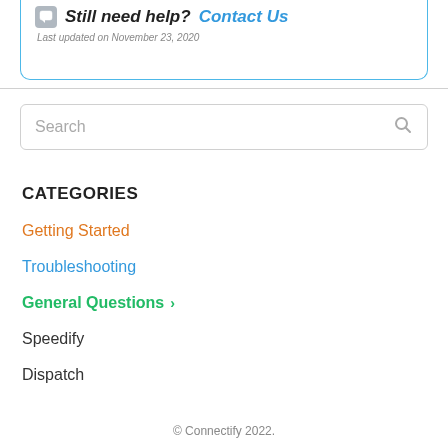Still need help? Contact Us
Last updated on November 23, 2020
Search
CATEGORIES
Getting Started
Troubleshooting
General Questions ›
Speedify
Dispatch
© Connectify 2022.